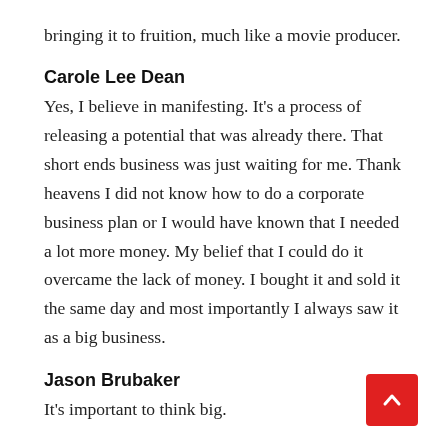bringing it to fruition, much like a movie producer.
Carole Lee Dean
Yes, I believe in manifesting. It’s a process of releasing a potential that was already there. That short ends business was just waiting for me. Thank heavens I did not know how to do a corporate business plan or I would have known that I needed a lot more money. My belief that I could do it overcame the lack of money. I bought it and sold it the same day and most importantly I always saw it as a big business.
Jason Brubaker
It’s important to think big.